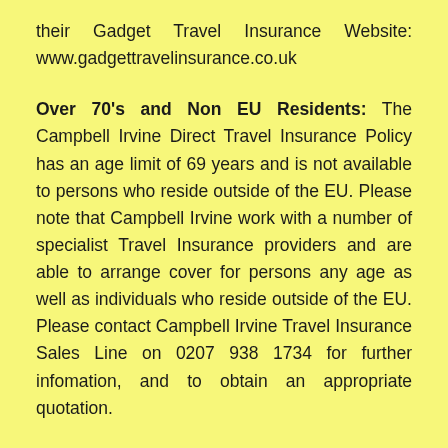their Gadget Travel Insurance Website: www.gadgettravelinsurance.co.uk
Over 70's and Non EU Residents: The Campbell Irvine Direct Travel Insurance Policy has an age limit of 69 years and is not available to persons who reside outside of the EU. Please note that Campbell Irvine work with a number of specialist Travel Insurance providers and are able to arrange cover for persons any age as well as individuals who reside outside of the EU. Please contact Campbell Irvine Travel Insurance Sales Line on 0207 938 1734 for further infomation, and to obtain an appropriate quotation.